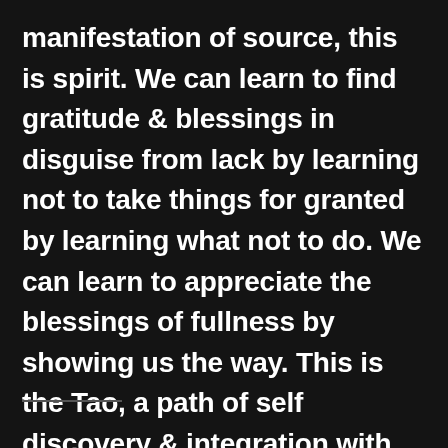manifestation of source, this is spirit. We can learn to find gratitude & blessings in disguise from lack by learning not to take things for granted by learning what not to do. We can learn to appreciate the blessings of fullness by showing us the way. This is the Tao, a path of self discovery & integration with Nature. 💕 💝 🙏 🌠 ✨